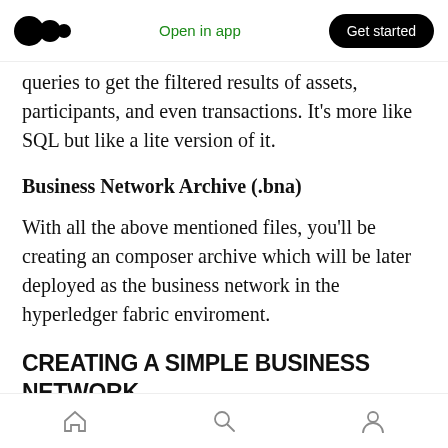Medium logo | Open in app | Get started
queries to get the filtered results of assets, participants, and even transactions. It's more like SQL but like a lite version of it.
Business Network Archive (.bna)
With all the above mentioned files, you'll be creating an composer archive which will be later deployed as the business network in the hyperledger fabric enviroment.
CREATING A SIMPLE BUSINESS NETWORK
Since you've installed the composer generator